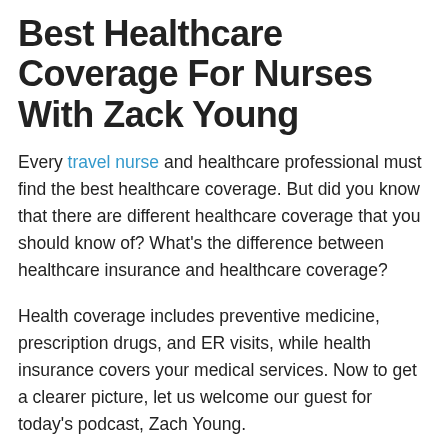Best Healthcare Coverage For Nurses With Zack Young
Every travel nurse and healthcare professional must find the best healthcare coverage. But did you know that there are different healthcare coverage that you should know of? What's the difference between healthcare insurance and healthcare coverage?
Health coverage includes preventive medicine, prescription drugs, and ER visits, while health insurance covers your medical services. Now to get a clearer picture, let us welcome our guest for today's podcast, Zach Young.
Zach Young is a health advisor helping traveling healthcare workers find affordable coverage! He loves passive income projects and setting up financial freedom. If you want to do the same and learn more